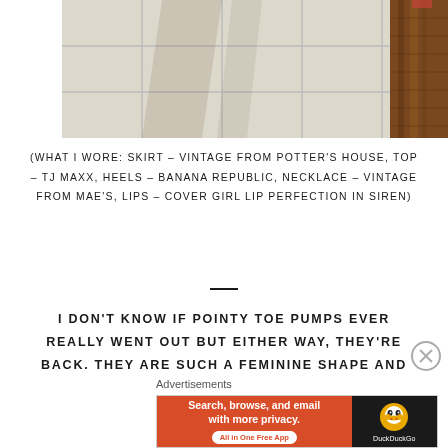[Figure (photo): Partial photo showing tiled floor and wicker basket on the right edge, likely a fashion/outfit photo cropped at the top]
(WHAT I WORE: SKIRT – VINTAGE FROM POTTER'S HOUSE, TOP – TJ MAXX, HEELS – BANANA REPUBLIC, NECKLACE – VINTAGE FROM MAE'S, LIPS – COVER GIRL LIP PERFECTION IN SIREN)
I DON'T KNOW IF POINTY TOE PUMPS EVER REALLY WENT OUT BUT EITHER WAY, THEY'RE BACK. THEY ARE SUCH A FEMININE SHAPE AND
[Figure (other): DuckDuckGo advertisement banner: Search, browse, and email with more privacy. All in One Free App]